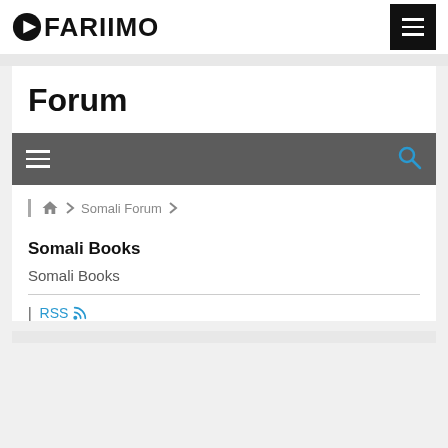FARIIMO
Forum
≡   🔍
🏠 > Somali Forum >
Somali Books
Somali Books
| RSS